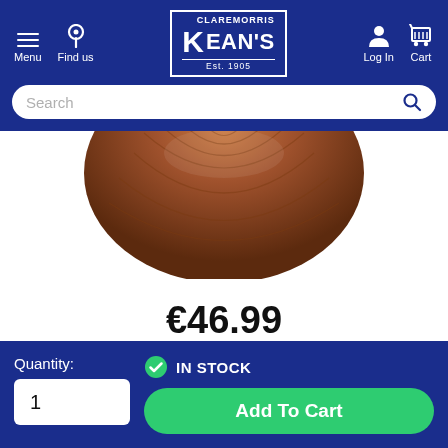Menu  Find us  CLAREMORRIS KEAN'S Est. 1905  Log In  Cart
Search
[Figure (photo): A wooden salad bowl photographed from slightly above, showing the curved bottom half of a dark wood bowl with visible wood grain.]
€46.99
Quantity: 1
IN STOCK
Add To Cart